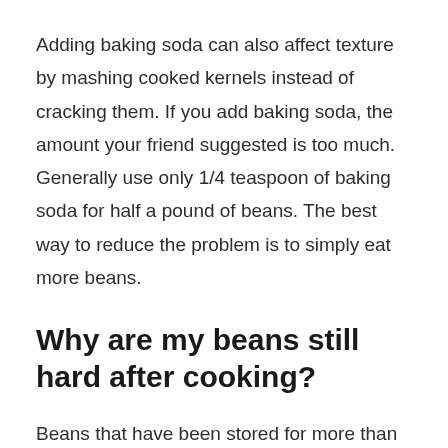Adding baking soda can also affect texture by mashing cooked kernels instead of cracking them. If you add baking soda, the amount your friend suggested is too much. Generally use only 1/4 teaspoon of baking soda for half a pound of beans. The best way to reduce the problem is to simply eat more beans.
Why are my beans still hard after cooking?
Beans that have been stored for more than